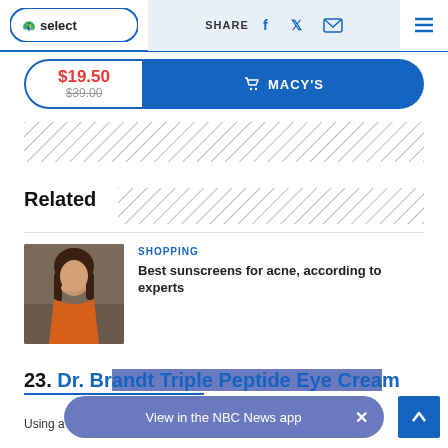NBC Select | SHARE
[Figure (other): Price button showing $19.50 (sale) / $39.00 (original) with Macy's CTA button]
[Figure (other): Hatched advertisement placeholder banner]
Related
[Figure (other): Hatched advertisement placeholder next to Related heading]
[Figure (photo): Woman in orange top applying sunscreen]
SHOPPING
Best sunscreens for acne, according to experts
23. Dr. Brandt Triple Peptide Eye Cream
Using a small amount of this eye cream every day helps to
[Figure (other): View in the NBC News app banner with close button]
[Figure (other): Scroll to top button]